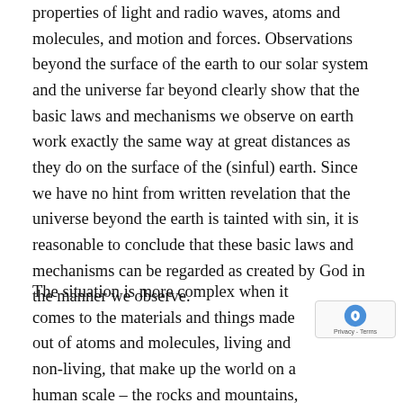properties of light and radio waves, atoms and molecules, and motion and forces. Observations beyond the surface of the earth to our solar system and the universe far beyond clearly show that the basic laws and mechanisms we observe on earth work exactly the same way at great distances as they do on the surface of the (sinful) earth. Since we have no hint from written revelation that the universe beyond the earth is tainted with sin, it is reasonable to conclude that these basic laws and mechanisms can be regarded as created by God in the manner we observe.
The situation is more complex when it comes to the materials and things made out of atoms and molecules, living and non-living, that make up the world on a human scale – the rocks and mountains, lakes and oceans, plants and all other forms of life. Humans have clearly had an effect on the natural environment as well as on each other and other life forms. Study was necessary to build a picture of God's methods in the